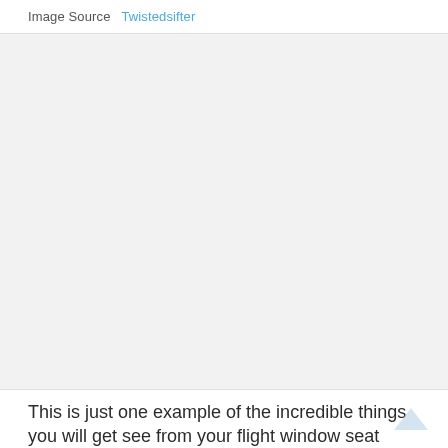Image Source   Twistedsifter
[Figure (photo): Large image placeholder area with light gray background, representing a photo of a view from a flight window seat]
This is just one example of the incredible things you will get see from your flight window seat